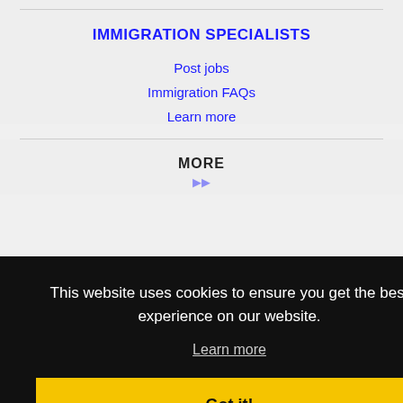IMMIGRATION SPECIALISTS
Post jobs
Immigration FAQs
Learn more
MORE
This website uses cookies to ensure you get the best experience on our website.
Learn more
Got it!
Bradenton, FL Jobs